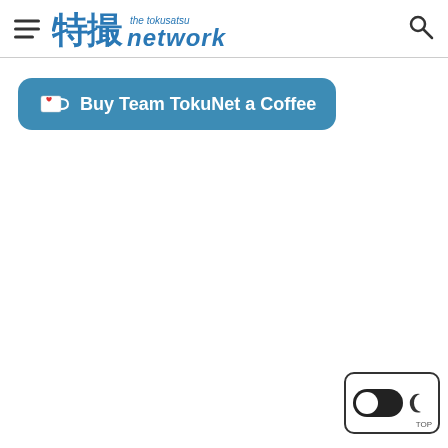The Tokusatsu Network - header with hamburger menu, logo, and search icon
[Figure (logo): The Tokusatsu Network logo with Japanese characters 特撮 and stylized italic text 'the tokusatsu network']
Buy Team TokuNet a Coffee
[Figure (other): Dark mode toggle switch with moon icon and TOP label]